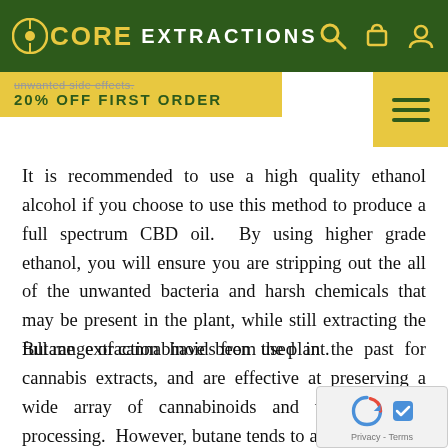CORE EXTRACTIONS
unwanted side effects. 20% OFF FIRST ORDER
It is recommended to use a high quality ethanol alcohol if you choose to use this method to produce a full spectrum CBD oil. By using higher grade ethanol, you will ensure you are stripping out the all of the unwanted bacteria and harsh chemicals that may be present in the plant, while still extracting the full range of cannabinoids from the plant.
Butane extraction have been used in the past for cannabis extracts, and are effective at preserving a wide array of cannabinoids and terpenes after processing. However, butane tends to alter the natural cannabinoid/terpene balance in the end product, producing a product th...